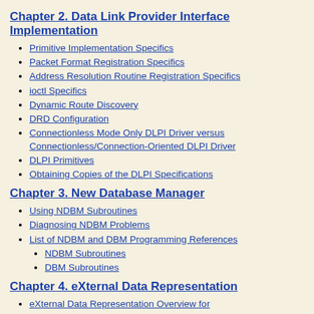Chapter 2. Data Link Provider Interface Implementation
Primitive Implementation Specifics
Packet Format Registration Specifics
Address Resolution Routine Registration Specifics
ioctl Specifics
Dynamic Route Discovery
DRD Configuration
Connectionless Mode Only DLPI Driver versus Connectionless/Connection-Oriented DLPI Driver
DLPI Primitives
Obtaining Copies of the DLPI Specifications
Chapter 3. New Database Manager
Using NDBM Subroutines
Diagnosing NDBM Problems
List of NDBM and DBM Programming References
NDBM Subroutines
DBM Subroutines
Chapter 4. eXternal Data Representation
eXternal Data Representation Overview for